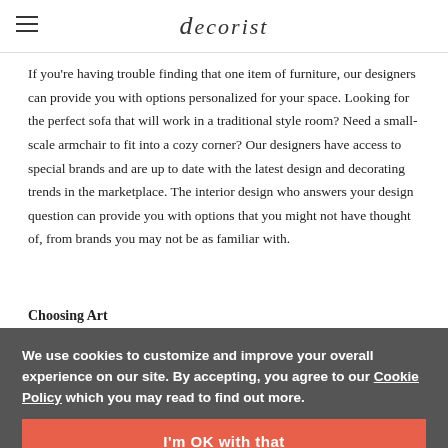decorist
If you're having trouble finding that one item of furniture, our designers can provide you with options personalized for your space. Looking for the perfect sofa that will work in a traditional style room? Need a small-scale armchair to fit into a cozy corner? Our designers have access to special brands and are up to date with the latest design and decorating trends in the marketplace. The interior design who answers your design question can provide you with options that you might not have thought of, from brands you may not be as familiar with.
Choosing Art
Finding art is one of the most fun and rewarding additions to your space and is one of the hardest things to find. Great art also doesn't have to be expensive and budget level. The most interesting and dynamic designs also mix art from different styles. Update my preferences you put together different pieces of art in your room.
We use cookies to customize and improve your overall experience on our site. By accepting, you agree to our Cookie Policy which you may read to find out more.
I'm OK with that
Update my preferences